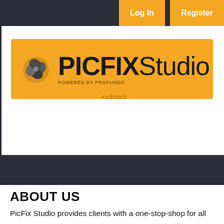Log In   Register
[Figure (logo): PicFix Studio logo on orange banner background with stylized spiral icon and 'PICFIX Studio' text, 'POWERED BY PROFUNDO' subtitle]
ABOUT US
PicFix Studio provides clients with a one-stop-shop for all their digital photography needs. Our team of licensed editing experts takes every-day pictures and